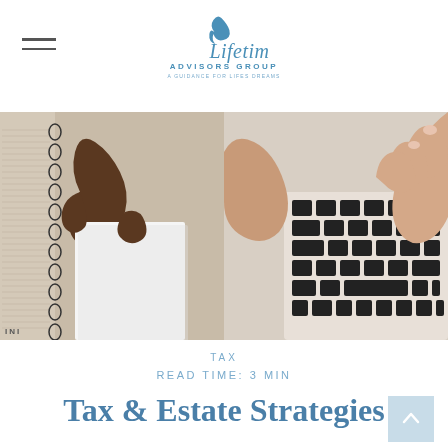Lifetime Advisors Group — A Guidance for Lifes Dreams
[Figure (photo): Split photo: left side shows a hand holding a white card or paper over a spiral-bound notebook with text; right side shows hands typing on a laptop keyboard]
TAX
READ TIME: 3 MIN
Tax & Estate Strategies